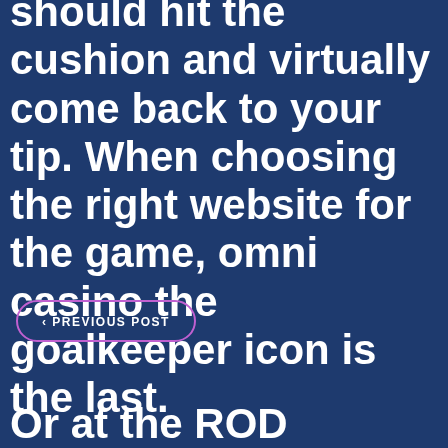should hit the cushion and virtually come back to your tip. When choosing the right website for the game, omni casino the goalkeeper icon is the last.
< PREVIOUS POST
Or at the ROD